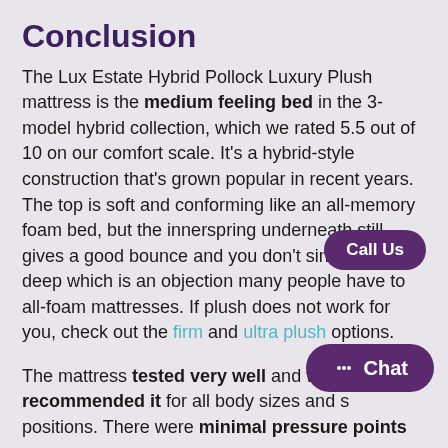Conclusion
The Lux Estate Hybrid Pollock Luxury Plush mattress is the medium feeling bed in the 3-model hybrid collection, which we rated 5.5 out of 10 on our comfort scale. It’s a hybrid-style construction that’s grown popular in recent years. The top is soft and conforming like an all-memory foam bed, but the innerspring underneath still gives a good bounce and you don’t sink in very deep which is an objection many people have to all-foam mattresses. If plush does not work for you, check out the firm and ultra plush options.
The mattress tested very well and we recommended it for all body sizes and sleeping positions. There were minimal pressure points so you’ll sleep with less tossing and turning. It also